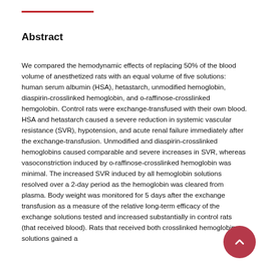Abstract
We compared the hemodynamic effects of replacing 50% of the blood volume of anesthetized rats with an equal volume of five solutions: human serum albumin (HSA), hetastarch, unmodified hemoglobin, diaspirin-crosslinked hemoglobin, and o-raffinose-crosslinked hemgolobin. Control rats were exchange-transfused with their own blood. HSA and hetastarch caused a severe reduction in systemic vascular resistance (SVR), hypotension, and acute renal failure immediately after the exchange-transfusion. Unmodified and diaspirin-crosslinked hemoglobins caused comparable and severe increases in SVR, whereas vasoconstriction induced by o-raffinose-crosslinked hemoglobin was minimal. The increased SVR induced by all hemoglobin solutions resolved over a 2-day period as the hemoglobin was cleared from plasma. Body weight was monitored for 5 days after the exchange transfusion as a measure of the relative long-term efficacy of the exchange solutions tested and increased substantially in control rats (that received blood). Rats that received both crosslinked hemoglobin solutions gained a